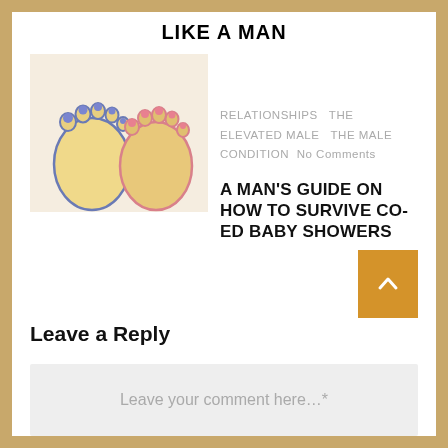LIKE A MAN
[Figure (photo): Two baby foot-shaped cookies — one outlined in blue/purple with blue bead toes, one outlined in pink with pink bead toes — on a white background.]
RELATIONSHIPS  THE ELEVATED MALE  THE MALE CONDITION  No Comments
A MAN'S GUIDE ON HOW TO SURVIVE CO-ED BABY SHOWERS
Leave a Reply
Leave your comment here…*